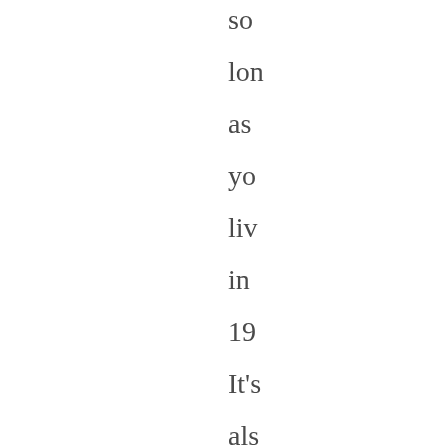so long as you live in 19... It's also nice that the layout of this book is bea... Th...